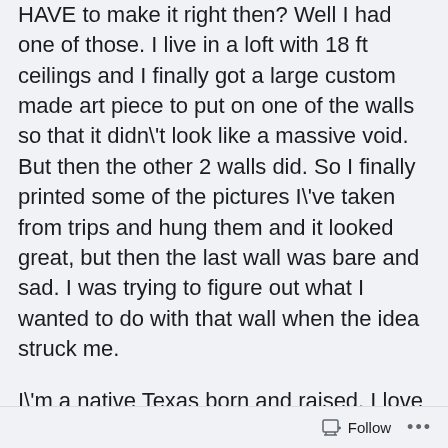HAVE to make it right then? Well I had one of those. I live in a loft with 18 ft ceilings and I finally got a large custom made art piece to put on one of the walls so that it didn't look like a massive void. But then the other 2 walls did. So I finally printed some of the pictures I've taken from trips and hung them and it looked great, but then the last wall was bare and sad. I was trying to figure out what I wanted to do with that wall when the idea struck me.
I'm a native Texas born and raised. I love Texas. And I just recently moved to Minnesota. It's different. Don't take it the wrong way, I'm really enjoying it. But I thought that if I could incorporate a little piece of home into a piece that it would
Follow ...